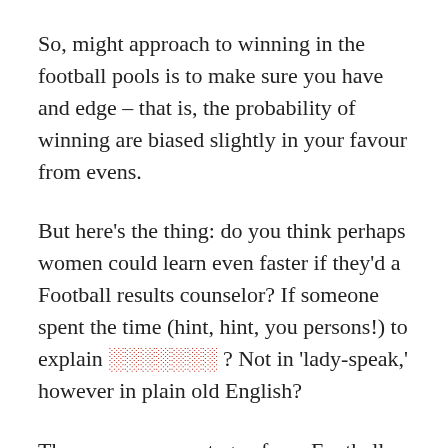So, might approach to winning in the football pools is to make sure you have and edge – that is, the probability of winning are biased slightly in your favour from evens.
But here's the thing: do you think perhaps women could learn even faster if they'd a Football results counselor? If someone spent the time (hint, hint, you persons!) to explain ░░░░░░░ ? Not in 'lady-speak,' however in plain old English?
The success percentage of one Football news prediction depends largely on experience and your network. In order to helpful in order to have feedback from insiders and a close connection expert tipsters who've long